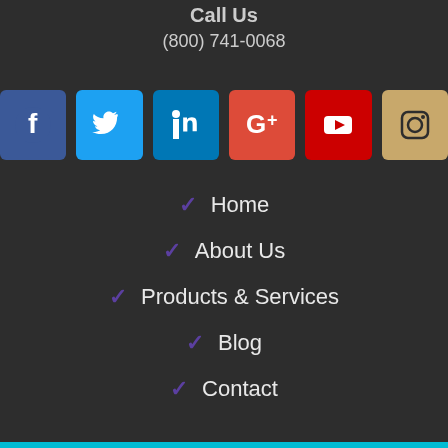Call Us
(800) 741-0068
[Figure (infographic): Row of 6 social media icons: Facebook (blue), Twitter (light blue), LinkedIn (dark blue), Google+ (red), YouTube (red with play button), Instagram (tan/gold)]
✓ Home
✓ About Us
✓ Products & Services
✓ Blog
✓ Contact